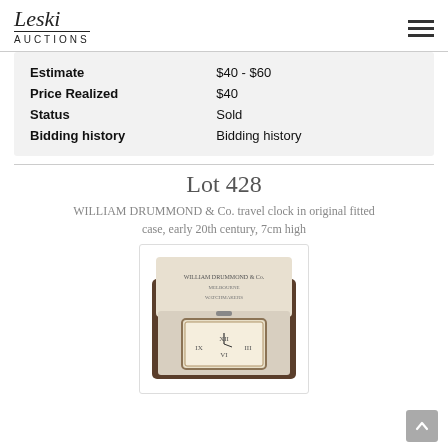Leski Auctions
|  |  |
| --- | --- |
| Estimate | $40 - $60 |
| Price Realized | $40 |
| Status | Sold |
| Bidding history | Bidding history |
Lot 428
WILLIAM DRUMMOND & Co. travel clock in original fitted case, early 20th century, 7cm high
[Figure (photo): Travel clock by William Drummond & Co. in original fitted case, shown open displaying the clock face inside a dark leather/wood case with cream interior lining.]